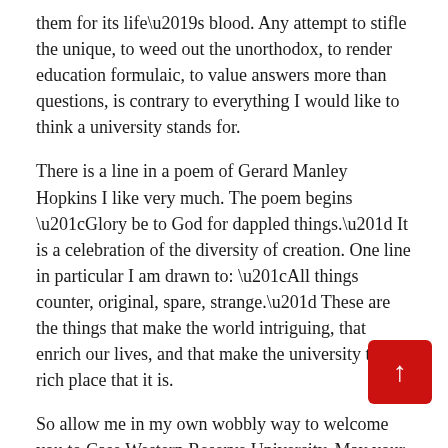them for its life's blood. Any attempt to stifle the unique, to weed out the unorthodox, to render education formulaic, to value answers more than questions, is contrary to everything I would like to think a university stands for.
There is a line in a poem of Gerard Manley Hopkins I like very much. The poem begins “Glory be to God for dappled things.” It is a celebration of the diversity of creation. One line in particular I am drawn to: “All things counter, original, spare, strange.” These are the things that make the world intriguing, that enrich our lives, and that make the university the rich place that it is.
So allow me in my own wobbly way to welcome you to Case Western Reserve University. May your time be well spent, steeped in distractions, intellectual indulgences, and profitable setbacks. Let no one choose your course but you. Thank
-CWRU-